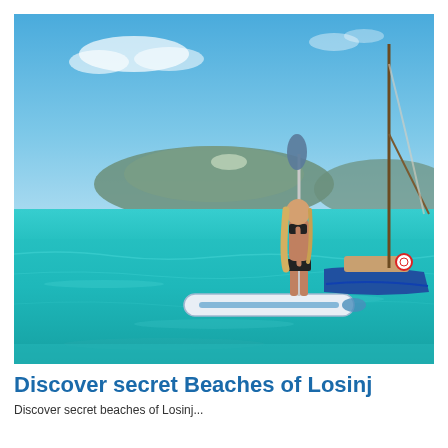[Figure (photo): A woman in a black bikini standing on a paddleboard on clear turquoise water, holding a paddle, with a blue sailboat and a mountainous island in the background under a blue sky.]
Discover secret Beaches of Losinj
Discover secret beaches of Losinj...